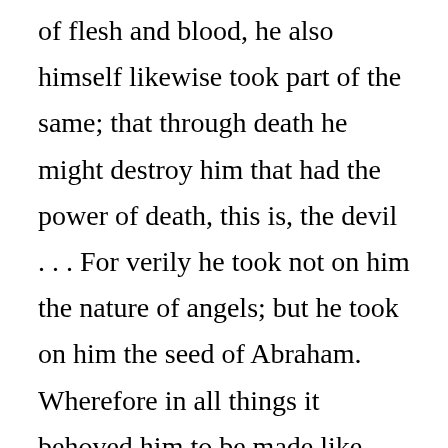of flesh and blood, he also himself likewise took part of the same; that through death he might destroy him that had the power of death, this is, the devil . . . For verily he took not on him the nature of angels; but he took on him the seed of Abraham. Wherefore in all things it behoved him to be made like unto his brethren, that he might be a merciful and faithful high priest in things pertaining to God, to make reconciliation for the sins of the people. For in that he himself hath suffered